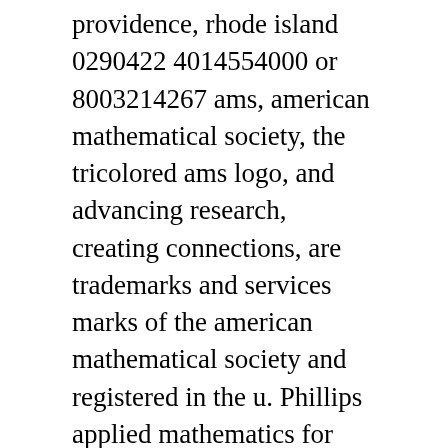providence, rhode island 0290422 4014554000 or 8003214267 ams, american mathematical society, the tricolored ams logo, and advancing research, creating connections, are trademarks and services marks of the american mathematical society and registered in the u. Phillips applied mathematics for advanced level butterworths 1969 acrobat 7 pdf 11. Advances in mathematics 25, 178187 1977 on fundamental groups of complete affinely flat manifolds john milnor institute for advanced study, princeton, new jersey 08540 this note tries to decide which groups